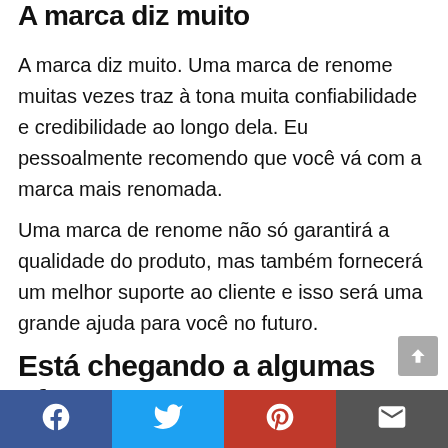A marca diz muito
A marca diz muito. Uma marca de renome muitas vezes traz à tona muita confiabilidade e credibilidade ao longo dela. Eu pessoalmente recomendo que você vá com a marca mais renomada.
Uma marca de renome não só garantirá a qualidade do produto, mas também fornecerá um melhor suporte ao cliente e isso será uma grande ajuda para você no futuro.
Está chegando a algumas ofertas?
Facebook | Twitter | Pinterest | Email